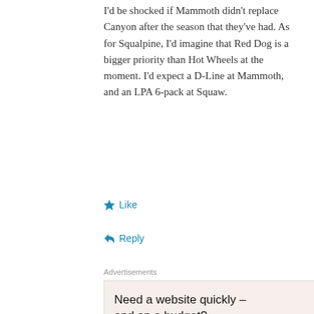I'd be shocked if Mammoth didn't replace Canyon after the season that they've had. As for Squalpine, I'd imagine that Red Dog is a bigger priority than Hot Wheels at the moment. I'd expect a D-Line at Mammoth, and an LPA 6-pack at Squaw.
Like
Reply
Advertisements
[Figure (other): WordPress advertisement banner: Need a website quickly – and on a budget?]
REPORT THIS AD
PETER LANDSMAN
Advertisements
[Figure (other): Ulta Beauty advertisement strip with makeup imagery and SHOP NOW call to action]
REPORT THIS AD